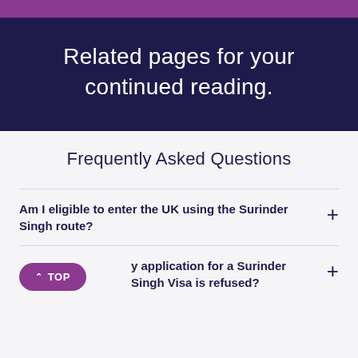Related pages for your continued reading.
Frequently Asked Questions
Am I eligible to enter the UK using the Surinder Singh route?
...y application for a Surinder Singh Visa is refused?